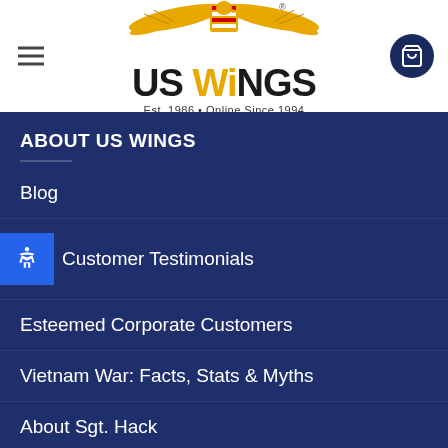[Figure (logo): US Wings logo with eagle/wings in gold and text 'US WINGS Est. 1986 • Online Since 1994']
ABOUT US WINGS
Blog
Customer Testimonials
Esteemed Corporate Customers
Vietnam War: Facts, Stats & Myths
About Sgt. Hack
In The Movies
Experience with the Flying Tigers